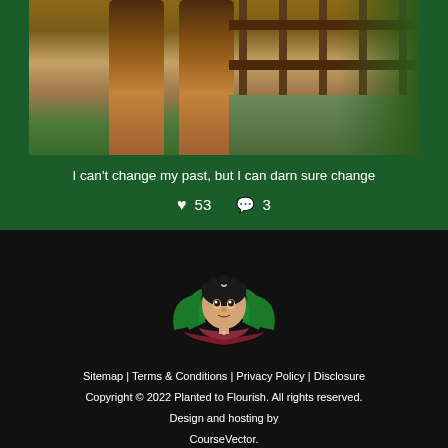[Figure (photo): Photo of person's legs standing on a wooden bridge with green foliage and water visible in the background]
I can't change my past, but I can darn sure change
♥ 53  💬 3
[Figure (logo): Planted to Flourish logo: woman with afro hair styled as lotus flower petals, green and dark red colors]
Sitemap | Terms & Conditions | Privacy Policy | Disclosure Copyright © 2022 Planted to Flourish. All rights reserved. Design and hosting by CourseVector.